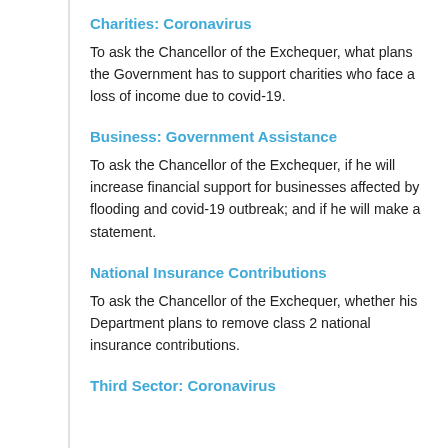Charities: Coronavirus
To ask the Chancellor of the Exchequer, what plans the Government has to support charities who face a loss of income due to covid-19.
Business: Government Assistance
To ask the Chancellor of the Exchequer, if he will increase financial support for businesses affected by flooding and covid-19 outbreak; and if he will make a statement.
National Insurance Contributions
To ask the Chancellor of the Exchequer, whether his Department plans to remove class 2 national insurance contributions.
Third Sector: Coronavirus